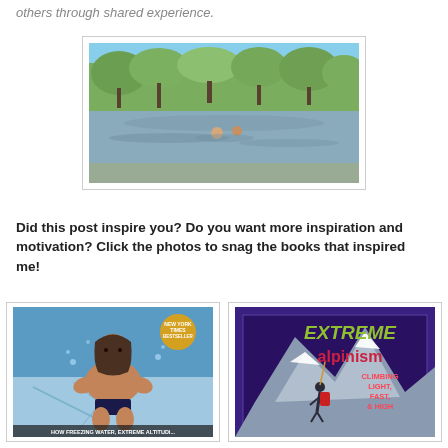others through shared experience.
[Figure (photo): Two people swimming in a river with trees and blue sky in the background]
Did this post inspire you? Do you want more inspiration and motivation? Click the photos to snag the books that inspired me!
[Figure (photo): Book cover: man kneeling on ice, text 'HOW FREEZING WATER, EXTREME ALTITUDE...' with New York Times Bestseller badge]
[Figure (photo): Book cover: Extreme Alpinism - Climbing Light, Fast, & High, showing a climber on a snowy mountain]